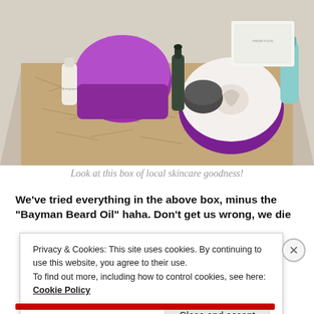[Figure (photo): An overhead view of an open cardboard box filled with shredded brown paper packing material and various skincare products including jars with purple lids, small bottles, a dropper bottle, boxes, and other cosmetic items.]
Look at this box of local skincare goodness!
We’ve tried everything in the above box, minus the “Bayman Beard Oil” haha. Don’t get us wrong, we die
Privacy & Cookies: This site uses cookies. By continuing to use this website, you agree to their use.
To find out more, including how to control cookies, see here: Cookie Policy
Close and accept